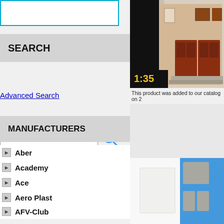[Figure (screenshot): Empty search input box with cyan/teal border]
SEARCH
[Figure (screenshot): Search text input field with magnifying glass icon]
Advanced Search
MANUFACTURERS
Aber
Academy
Ace
Aero Plast
AFV-Club
AIM Fan Model
Aires Hobby Models
Airfix
Alliance
AMA
AMG Models
Amk
Amodel
AMR
[Figure (photo): Scale model building with brown doors and windows, 1:35 scale badge]
This product was added to our catalog on 2
[Figure (photo): Gray resin cast rectangular blocks/doors on blue background]